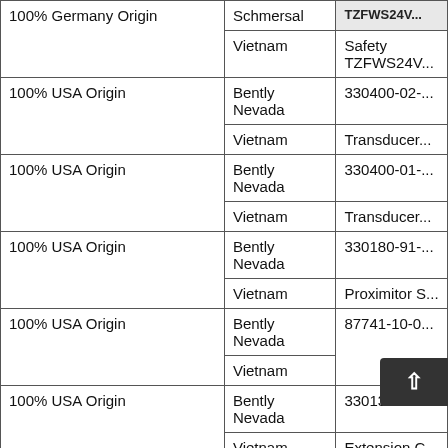| Origin | Manufacturer/Country | Part Number/Description |
| --- | --- | --- |
| 100% Germany Origin | Schmersal
Vietnam | TZFWS24V...
Safety TZFWS24V... |
| 100% USA Origin | Bently Nevada
Vietnam | 330400-02-...
Transducer... |
| 100% USA Origin | Bently Nevada
Vietnam | 330400-01-...
Transducer... |
| 100% USA Origin | Bently Nevada
Vietnam | 330180-91-...
Proximitor S... |
| 100% USA Origin | Bently Nevada
Vietnam | 87741-10-0... |
| 100% USA Origin | Bently Nevada
Vietnam | 330130-080...
Extension C... |
| 100% USA Origin | Bently Nevada
Vietnam | 1900/65A-0...
General
Monitor... |
| 100% France/MexicoOrigin | Crydom
Vietnam | Part nu...
Solid State... |